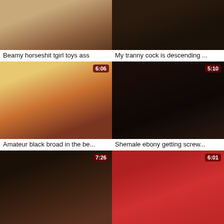[Figure (screenshot): Video thumbnail grid item 1, partial top]
Beamy horseshit tgirl toys ass
[Figure (screenshot): Video thumbnail grid item 2, partial top]
My tranny cock is descending ...
[Figure (screenshot): Video thumbnail, duration 6:06]
Amateur black broad in the be...
[Figure (screenshot): Video thumbnail, duration 5:10]
Shemale ebony getting screw...
[Figure (screenshot): Video thumbnail, duration 7:26]
Black shemale star with big as...
[Figure (screenshot): Video thumbnail, duration 6:01]
Bigtitted ebony tranny solo tug...
[Figure (screenshot): Video thumbnail partial bottom, duration 10:50]
[Figure (screenshot): Video thumbnail partial bottom, duration 15:12]